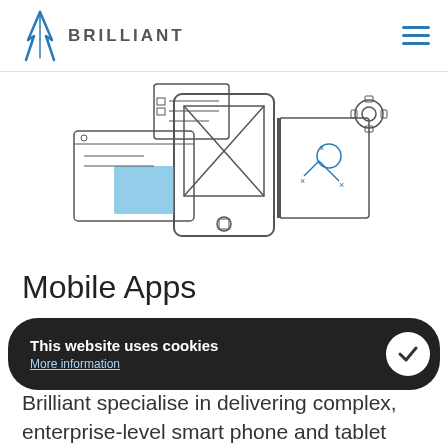[Figure (logo): Brilliant company logo with leaf/feather icon and BRILLIANT text]
[Figure (illustration): Line illustration of mobile app design elements: tablet wireframe with X placeholder, notebook with strategy diagram, browser window with blue highlight, gear icon]
Mobile Apps
This website uses cookies
More information
Brilliant specialise in delivering complex, enterprise-level smart phone and tablet